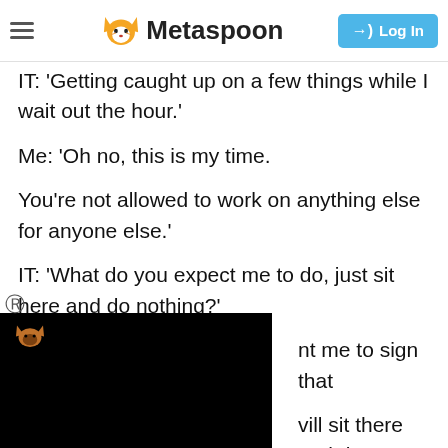Metaspoon — Log In
IT: 'Getting caught up on a few things while I wait out the hour.'
Me: 'Oh no, this is my time.
You're not allowed to work on anything else for anyone else.'
IT: 'What do you expect me to do, just sit here and do nothing?'
...nt me to sign that ...ill sit there and do